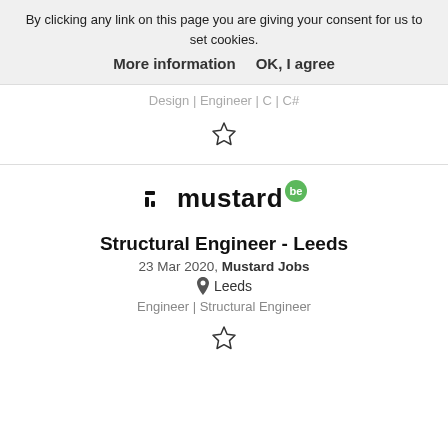By clicking any link on this page you are giving your consent for us to set cookies.
More information    OK, I agree
Design | Engineer | C | C#
[Figure (illustration): Star/bookmark icon (outline)]
[Figure (logo): Mustard Jobs logo with green 'be' badge]
Structural Engineer - Leeds
23 Mar 2020, Mustard Jobs
Leeds
Engineer | Structural Engineer
[Figure (illustration): Star/bookmark icon (outline)]